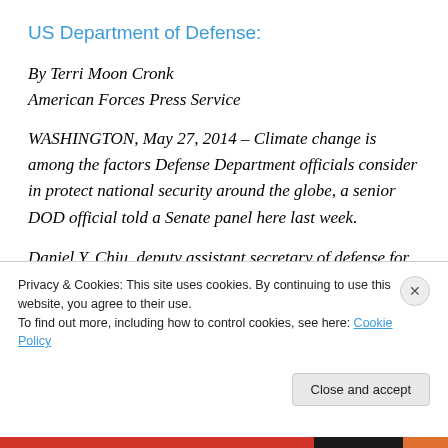US Department of Defense:
By Terri Moon Cronk
American Forces Press Service
WASHINGTON, May 27, 2014 – Climate change is among the factors Defense Department officials consider in protect national security around the globe, a senior DOD official told a Senate panel here last week.
Daniel Y. Chiu, deputy assistant secretary of defense for
Privacy & Cookies: This site uses cookies. By continuing to use this website, you agree to their use.
To find out more, including how to control cookies, see here: Cookie Policy